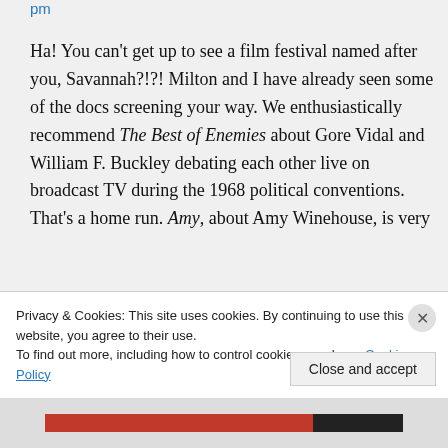pm
Ha! You can't get up to see a film festival named after you, Savannah?!?! Milton and I have already seen some of the docs screening your way. We enthusiastically recommend The Best of Enemies about Gore Vidal and William F. Buckley debating each other live on broadcast TV during the 1968 political conventions. That's a home run. Amy, about Amy Winehouse, is very
Privacy & Cookies: This site uses cookies. By continuing to use this website, you agree to their use.
To find out more, including how to control cookies, see here: Cookie Policy
Close and accept